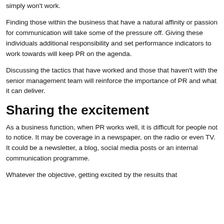simply won't work.
Finding those within the business that have a natural affinity or passion for communication will take some of the pressure off. Giving these individuals additional responsibility and set performance indicators to work towards will keep PR on the agenda.
Discussing the tactics that have worked and those that haven't with the senior management team will reinforce the importance of PR and what it can deliver.
Sharing the excitement
As a business function, when PR works well, it is difficult for people not to notice. It may be coverage in a newspaper, on the radio or even TV. It could be a newsletter, a blog, social media posts or an internal communication programme.
Whatever the objective, getting excited by the results that